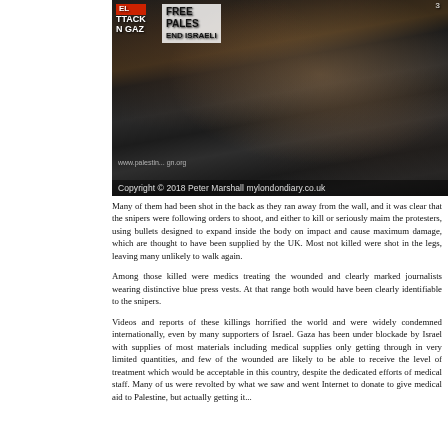[Figure (photo): Protest scene showing demonstrators with signs reading 'FREE PALESTINE', 'END ISRAELI', 'ATTACK ON GAZA'. A young woman in black clothing holds a wooden pole and appears to be chanting, mouth open. Other protesters visible in background.]
Many of them had been shot in the back as they ran away from the wall, and it was clear that the snipers were following orders to shoot, and either to kill or seriously maim the protesters, using bullets designed to expand inside the body on impact and cause maximum damage, which are thought to have been supplied by the UK. Most not killed were shot in the legs, leaving many unlikely to walk again.
Among those killed were medics treating the wounded and clearly marked journalists wearing distinctive blue press vests. At that range both would have been clearly identifiable to the snipers.
Videos and reports of these killings horrified the world and were widely condemned internationally, even by many supporters of Israel. Gaza has been under blockade by Israel with supplies of most materials including medical supplies only getting through in very limited quantities, and few of the wounded are likely to be able to receive the level of treatment which would be acceptable in this country, despite the dedicated efforts of medical staff. Many of us were revolted by what we saw and went Internet to donate to give medical aid to Palestine, but actually getting it...